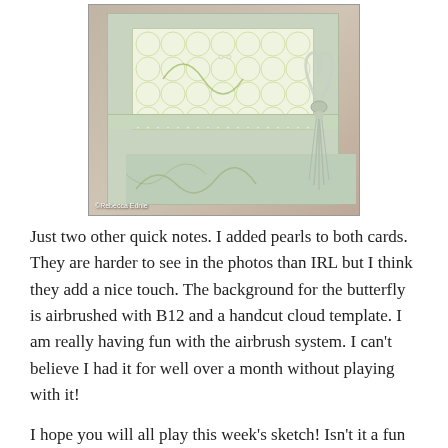[Figure (photo): A handmade greeting card with light green/sage color layers, patterned paper with circle designs on top, a ribbon bow and tassel on the right side. Copyright text reads '©Rebecca Ednie' in the lower left of the photo.]
Just two other quick notes. I added pearls to both cards. They are harder to see in the photos than IRL but I think they add a nice touch. The background for the butterfly is airbrushed with B12 and a handcut cloud template. I am really having fun with the airbrush system. I can't believe I had it for well over a month without playing with it!
I hope you will all play this week's sketch! Isn't it a fun one, courtesy Nikki? The DareDevils would love for you